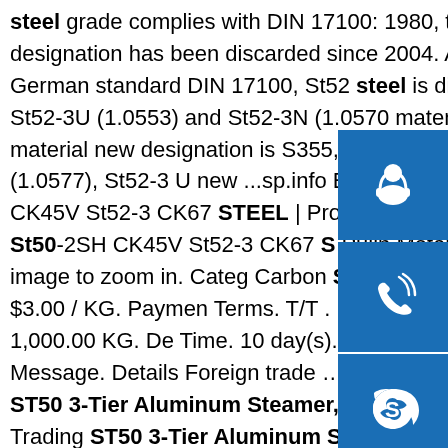steel grade complies with DIN 17100: 1980, the designation has been discarded since 2004. According to German standard DIN 17100, St52 steel is divided into St52-3U (1.0553) and St52-3N (1.0570 material). S material new designation is S355, St52-3 new nam S355J2 (1.0577), St52-3 U new ...sp.info E295GC St50-2SH CK45V St52-3 CK67 STEEL | Products ...E295GC St50 St50-2SH CK45V St52-3 ST Pulin Metal. Roll over the image to zoom in. Categ Carbon Steel. Price / Unit. US $3.00 / KG. Paymen Terms. T/T . Min. Order Quantity. 1,000.00 KG. De Time. 10 day(s). Add to Favorites Send Message. Details Foreign trade …sp.info M.V. Trading ST50 3-Tier Aluminum Steamer, 20-InchThis item M.V. Trading ST50 3-Tier Aluminum Steamer, 20-Inch Excellanté ALST012 21" x 25 1/2" 50cm Big Hole/Bottom Aluminum Steamer Giantex 3-Layer Stainless Steel Steamer Pot for Cooking Soup and Steaming Food Steam Pot with with Tempered Glass Lid, 2 Steaming Septa on Gas, Electric, Grill Stove
[Figure (illustration): Three blue icon boxes stacked vertically on the right side: headset/customer service icon, phone call icon, Skype icon]